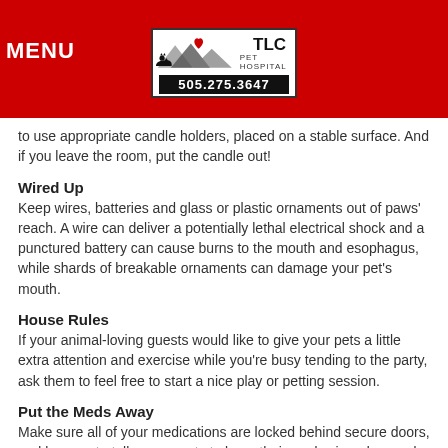MENU | TLC PET HOSPITAL 505.275.3647
to use appropriate candle holders, placed on a stable surface. And if you leave the room, put the candle out!
Wired Up
Keep wires, batteries and glass or plastic ornaments out of paws' reach. A wire can deliver a potentially lethal electrical shock and a punctured battery can cause burns to the mouth and esophagus, while shards of breakable ornaments can damage your pet's mouth.
House Rules
If your animal-loving guests would like to give your pets a little extra attention and exercise while you're busy tending to the party, ask them to feel free to start a nice play or petting session.
Put the Meds Away
Make sure all of your medications are locked behind secure doors, and be sure to tell your guests to keep their meds zipped up and packed away, too.